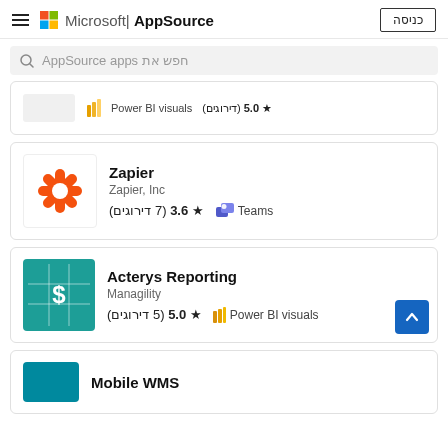Microsoft | AppSource   כניסה
חפש את AppSource apps
[Figure (screenshot): Partially visible app card with Power BI visuals category and rating 5.0 (דירוגים)]
Zapier
Zapier, Inc
★ 3.6 (7 דירוגים)
Teams
Acterys Reporting
Managility
★ 5.0 (5 דירוגים)
Power BI visuals
Mobile WMS